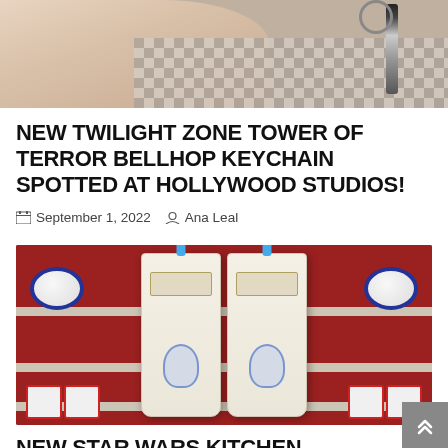[Figure (photo): Close-up photo of a hand holding a keychain, with a checkered floor in the background]
NEW TWILIGHT ZONE TOWER OF TERROR BELLHOP KEYCHAIN SPOTTED AT HOLLYWOOD STUDIOS!
September 1, 2022  Ana Leal
[Figure (photo): Star Wars R2-D2 themed aprons hanging in a store with R2-D2 bowls and mugs on red shelves in the background]
NEW STAR WARS KITCHEN MERCHANDISE